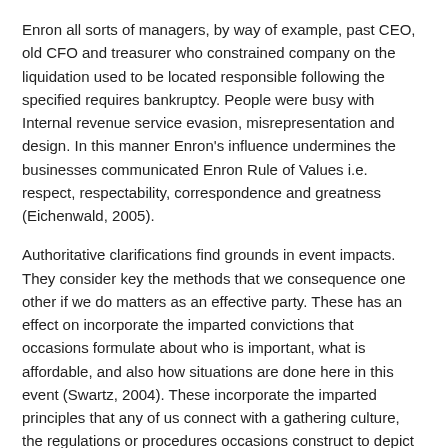Enron all sorts of managers, by way of example, past CEO, old CFO and treasurer who constrained company on the liquidation used to be located responsible following the specified requires bankruptcy. People were busy with Internal revenue service evasion, misrepresentation and design. In this manner Enron's influence undermines the businesses communicated Enron Rule of Values i.e. respect, respectability, correspondence and greatness (Eichenwald, 2005).
Authoritative clarifications find grounds in event impacts. They consider key the methods that we consequence one other if we do matters as an effective party. These has an effect on incorporate the imparted convictions that occasions formulate about who is important, what is affordable, and also how situations are done here in this event (Swartz, 2004). These incorporate the imparted principles that any of us connect with a gathering culture, the regulations or procedures occasions construct to depict their collaborations with one another and no matter what remains all over the world likewise.
Enron's laborers must-have considered that mature supervision public and absolute best degree administration have already been not apprehensive over the industry morals merely because they had been